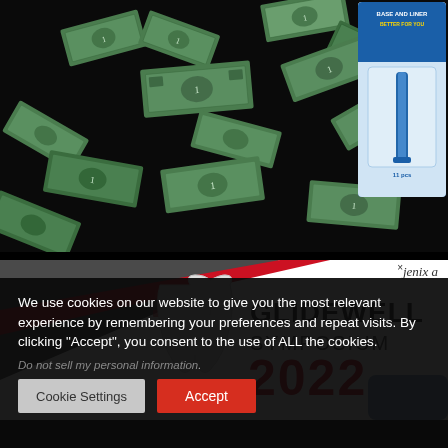[Figure (photo): Flying US dollar bills scattered on a black background, top half of the page]
[Figure (advertisement): Blue ad banner in top right corner with product imagery and text about base and liner]
[Figure (logo): Glidewell Symposium 2022 logo with tooth graphic and red/grey diagonal design elements on white background]
×jenix a
We use cookies on our website to give you the most relevant experience by remembering your preferences and repeat visits. By clicking “Accept”, you consent to the use of ALL the cookies.
Do not sell my personal information.
Cookie Settings
Accept